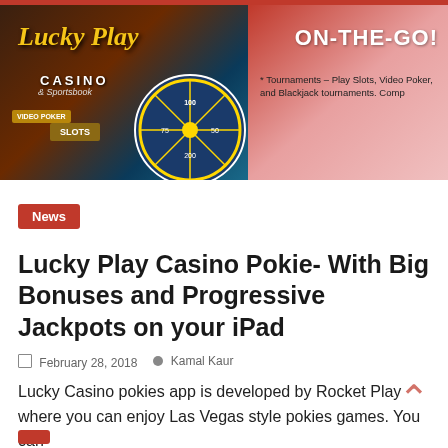Navigation bar with hamburger menu and search icon
[Figure (screenshot): Lucky Play Casino banner ad showing Lucky Play Casino branding with ON-THE-GO! text and tournament description on the right side]
News
Lucky Play Casino Pokie- With Big Bonuses and Progressive Jackpots on your iPad
February 28, 2018   Kamal Kaur
Lucky Casino pokies app is developed by Rocket Play where you can enjoy Las Vegas style pokies games. You can